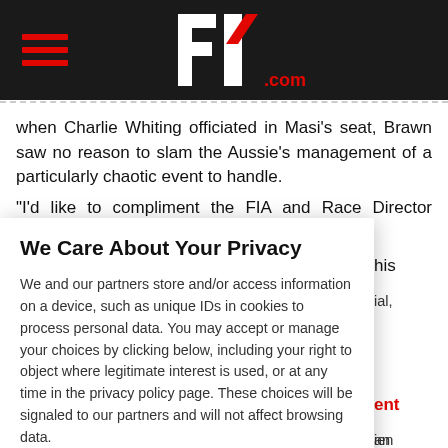F1.com header with hamburger menu and F1 logo
When Charlie Whiting officiated in Masi's seat, Brawn saw no reason to slam the Aussie's management of a particularly chaotic event to handle.
"I'd like to compliment the FIA and Race Director Michael Masi in his
We Care About Your Privacy
We and our partners store and/or access information on a device, such as unique IDs in cookies to process personal data. You may accept or manage your choices by clicking below, including your right to object where legitimate interest is used, or at any time in the privacy policy page. These choices will be signaled to our partners and will not affect browsing data.
We and our partners process data to provide:
Use precise geolocation data. Actively scan device characteristics for identification. Select basic ads. Select personalised ads. Store and/or access information on a device. Measure ad performance.